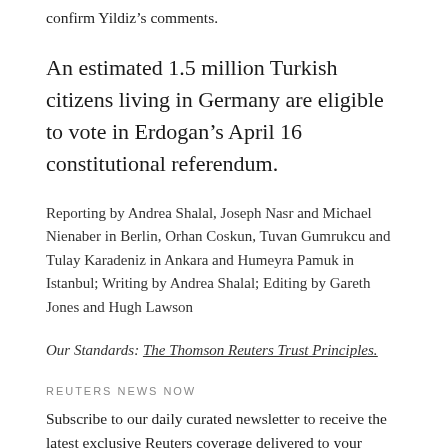confirm Yildiz’s comments.
An estimated 1.5 million Turkish citizens living in Germany are eligible to vote in Erdogan’s April 16 constitutional referendum.
Reporting by Andrea Shalal, Joseph Nasr and Michael Nienaber in Berlin, Orhan Coskun, Tuvan Gumrukcu and Tulay Karadeniz in Ankara and Humeyra Pamuk in Istanbul; Writing by Andrea Shalal; Editing by Gareth Jones and Hugh Lawson
Our Standards: The Thomson Reuters Trust Principles.
REUTERS NEWS NOW
Subscribe to our daily curated newsletter to receive the latest exclusive Reuters coverage delivered to your inbox.